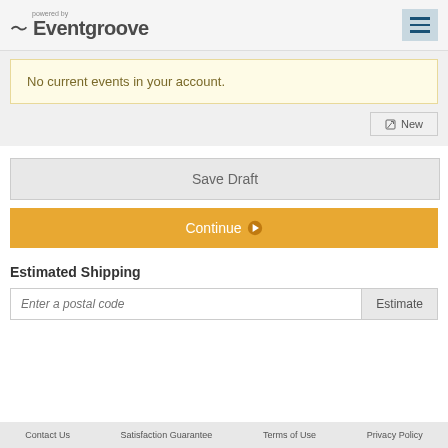powered by Eventgroove
No current events in your account.
New
Save Draft
Continue
Estimated Shipping
Enter a postal code    Estimate
Contact Us    Satisfaction Guarantee    Terms of Use    Privacy Policy